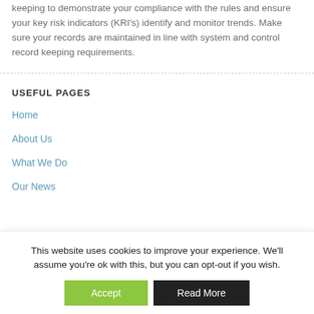keeping to demonstrate your compliance with the rules and ensure your key risk indicators (KRI's) identify and monitor trends. Make sure your records are maintained in line with system and control record keeping requirements.
USEFUL PAGES
Home
About Us
What We Do
Our News
This website uses cookies to improve your experience. We'll assume you're ok with this, but you can opt-out if you wish.